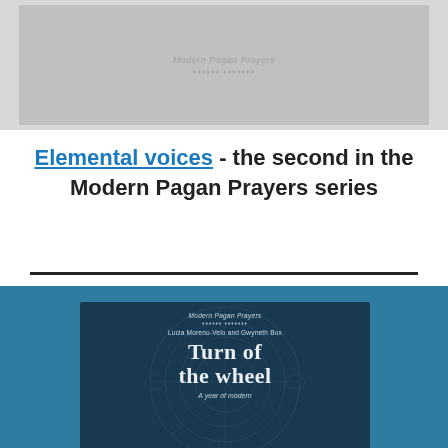[Figure (illustration): Book cover thumbnail of Modern Pagan Prayers series, gray background]
Elemental voices - the second in the Modern Pagan Prayers series
[Figure (illustration): Book cover of 'Turn of the wheel' by Lucia Moreno-Velo and Gwyneth Box, part of Modern Pagan Prayers series, teal/dark blue design with mandala motif]